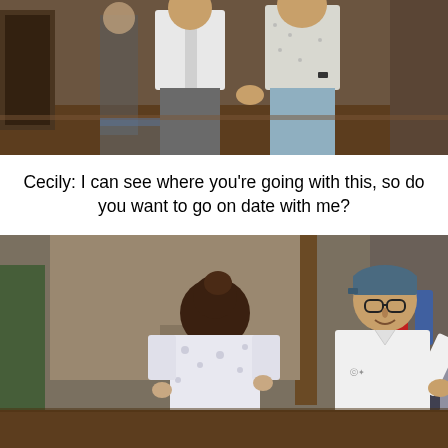[Figure (screenshot): Top screenshot from The Sims video game showing two male characters standing indoors, one in a white shirt and gray pants, the other in a light patterned shirt and jeans.]
Cecily: I can see where you're going with this, so do you want to go on date with me?
[Figure (screenshot): Bottom screenshot from The Sims video game showing a female character with dark hair in a white floral top facing a male character with glasses and a blue cap, wearing a white shirt, standing indoors.]